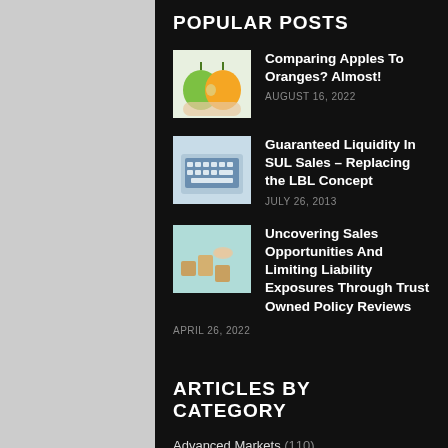POPULAR POSTS
Comparing Apples To Oranges? Almost!
AUGUST 16, 2022
Guaranteed Liquidity In SUL Sales – Replacing the LBL Concept
JULY 26, 2013
Uncovering Sales Opportunities And Limiting Liability Exposures Through Trust Owned Policy Reviews
APRIL 26, 2022
ARTICLES BY CATEGORY
Advanced Markets (110)
Annuities (53)